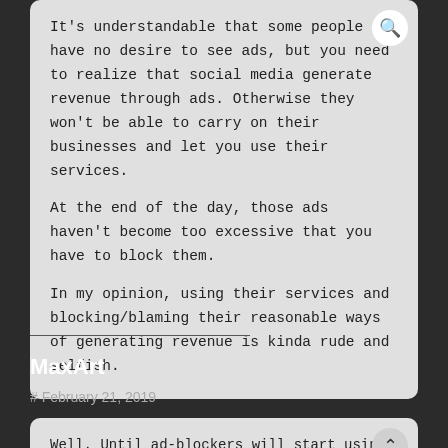It's understandable that some people have no desire to see ads, but you need to realize that social media generate revenue through ads. Otherwise they won't be able to carry on their businesses and let you use their services.

At the end of the day, those ads haven't become too excessive that you have to block them.

In my opinion, using their services and blocking/blaming their reasonable ways of generating revenue is kinda rude and selfish.
MaxArt
# February 21, 2019
Well. Until ad-blockers will start using aria-label instead, which can be a thing pretty soon (if it isn't already).